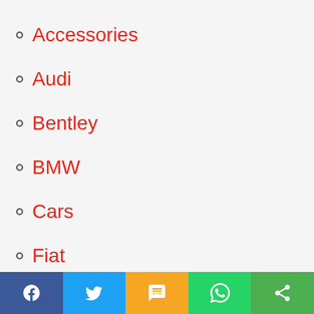Accessories
Audi
Bentley
BMW
Cars
Fiat
Garage Door
Hilux
Jeep
Lamborghini
Land Rover
Loan
Murcielago
Social share bar: Facebook, Twitter, SMS, WhatsApp, Share